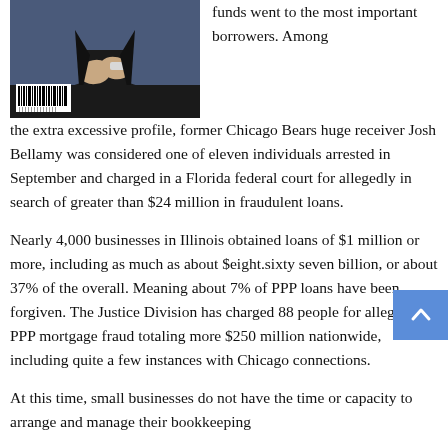[Figure (photo): Man in dark suit with hands folded, with barcode visible in lower left corner of image]
funds went to the most important borrowers. Among the extra excessive profile, former Chicago Bears huge receiver Josh Bellamy was considered one of eleven individuals arrested in September and charged in a Florida federal court for allegedly in search of greater than $24 million in fraudulent loans.
Nearly 4,000 businesses in Illinois obtained loans of $1 million or more, including as much as about $eight.sixty seven billion, or about 37% of the overall. Meaning about 7% of PPP loans have been forgiven. The Justice Division has charged 88 people for alleged PPP mortgage fraud totaling more $250 million nationwide, including quite a few instances with Chicago connections.
At this time, small businesses do not have the time or capacity to arrange and manage their bookkeeping